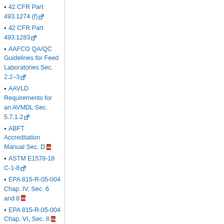42 CFR Part 493.1274 (f)
42 CFR Part 493.1283
AAFCO QA/QC Guidelines for Feed Laboratories Sec. 2.2–3
AAVLD Requirements for an AVMDL Sec. 5.7.1.2
ABFT Accreditation Manual Sec. D
ASTM E1578-18 C-1-8
EPA 815-R-05-004 Chap. IV, Sec. 6 and 8
EPA 815-R-05-004 Chap. VI, Sec. 8